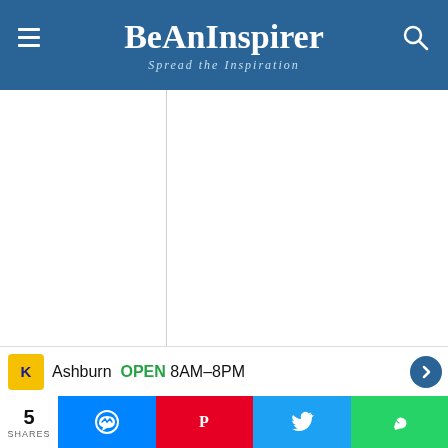BeAnInspirer — Spread the Inspiration
m ga rh D ist ri ct U tt
He also travelled to many countries such as Nepal, Tibet, Sri Lanka, Iran, China, and the erstwhile Soviet Union.
[Figure (screenshot): MBA – Business Analytics advertisement banner: BECOME A DATA-DRIVEN LEADER]
Ashburn OPEN 8AM–8PM
5 SHARES